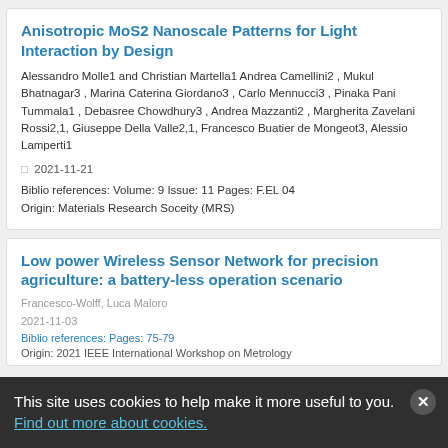Anisotropic MoS2 Nanoscale Patterns for Light Interaction by Design
Alessandro Molle1 and Christian Martella1 Andrea Camellini2 , Mukul Bhatnagar3 , Marina Caterina Giordano3 , Carlo Mennucci3 , Pinaka Pani Tummala1 , Debasree Chowdhury3 , Andrea Mazzanti2 , Margherita Zavelani Rossi2,1, Giuseppe Della Valle2,1, Francesco Buatier de Mongeot3, Alessio Lamperti1
2021-11-21
Biblio references: Volume: 9 Issue: 11 Pages: F.EL 04
Origin: Materials Research Soceity (MRS)
Low power Wireless Sensor Network for precision agriculture: a battery-less operation scenario
Francesco-Wolff, Luca Maloro
2021-11-03
Biblio references: Pages: 75-79
Origin: 2021 IEEE International Workshop on Metrology
This site uses cookies to help make it more useful to you.
Find out more about cookies.